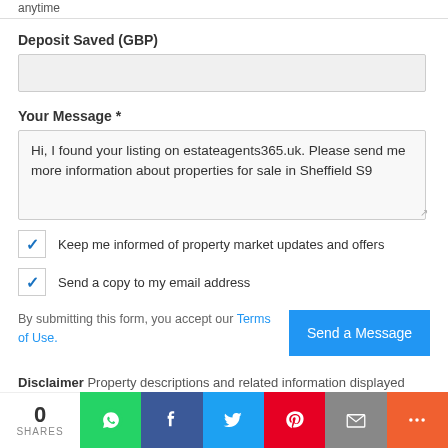anytime
Deposit Saved (GBP)
Your Message *
Hi, I found your listing on estateagents365.uk. Please send me more information about properties for sale in Sheffield S9
Keep me informed of property market updates and offers
Send a copy to my email address
By submitting this form, you accept our Terms of Use.
Disclaimer Property descriptions and related information displayed
0 SHARES